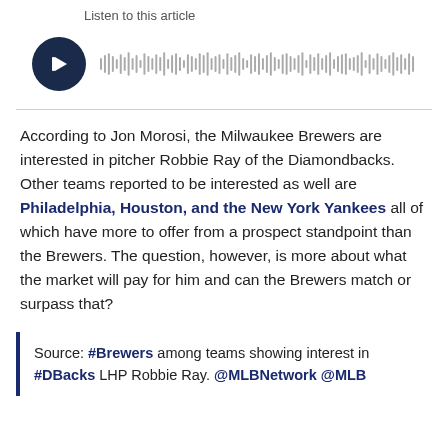[Figure (other): Audio player widget with dark circular play button and waveform visualization. Label reads 'Listen to this article'.]
According to Jon Morosi, the Milwaukee Brewers are interested in pitcher Robbie Ray of the Diamondbacks. Other teams reported to be interested as well are Philadelphia, Houston, and the New York Yankees all of which have more to offer from a prospect standpoint than the Brewers. The question, however, is more about what the market will pay for him and can the Brewers match or surpass that?
Source: #Brewers among teams showing interest in #DBacks LHP Robbie Ray. @MLBNetwork @MLB